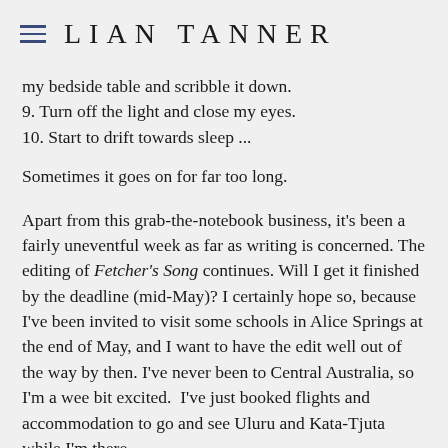LIAN TANNER
my bedside table and scribble it down.
9. Turn off the light and close my eyes.
10. Start to drift towards sleep ...
Sometimes it goes on for far too long.
Apart from this grab-the-notebook business, it's been a fairly uneventful week as far as writing is concerned. The editing of Fetcher's Song continues. Will I get it finished by the deadline (mid-May)? I certainly hope so, because I've been invited to visit some schools in Alice Springs at the end of May, and I want to have the edit well out of the way by then. I've never been to Central Australia, so I'm a wee bit excited.  I've just booked flights and accommodation to go and see Uluru and Kata-Tjuta while I'm there.